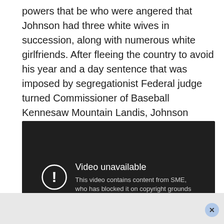powers that be who were angered that Johnson had three white wives in succession, along with numerous white girlfriends. After fleeing the country to avoid his year and a day sentence that was imposed by segregationist Federal judge turned Commissioner of Baseball Kennesaw Mountain Landis, Johnson returned after seven years and turned himself in.
[Figure (screenshot): Embedded video player showing 'Video unavailable' message. Text reads: 'Video unavailable. This video contains content from SME, who has blocked it on copyright grounds.']